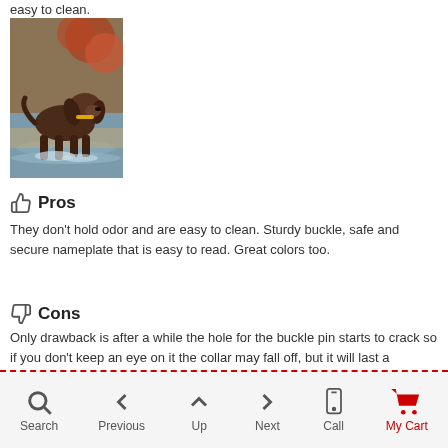easy to clean.
[Figure (photo): A brown dog wearing a yellow collar walking through shallow water with autumn foliage in the background.]
Pros
They don't hold odor and are easy to clean. Sturdy buckle, safe and secure nameplate that is easy to read. Great colors too.
Cons
Only drawback is after a while the hole for the buckle pin starts to crack so if you don't keep an eye on it the collar may fall off, but it will last a
Search  Previous  Up  Next  Call  My Cart